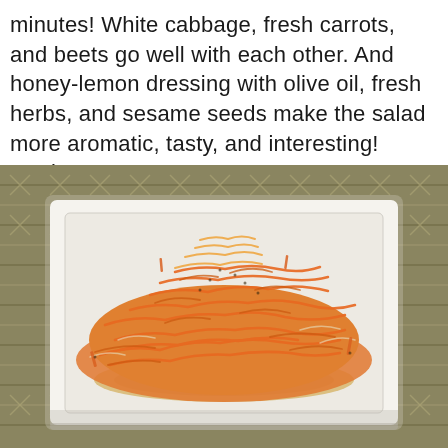minutes! White cabbage, fresh carrots, and beets go well with each other. And honey-lemon dressing with olive oil, fresh herbs, and sesame seeds make the salad more aromatic, tasty, and interesting! Cook: 30...
[Figure (photo): A shredded carrot and cabbage salad piled high on a square white ceramic plate, sitting on a woven rope placemat. The dressing pooling at the bottom of the plate appears creamy/honey-colored.]